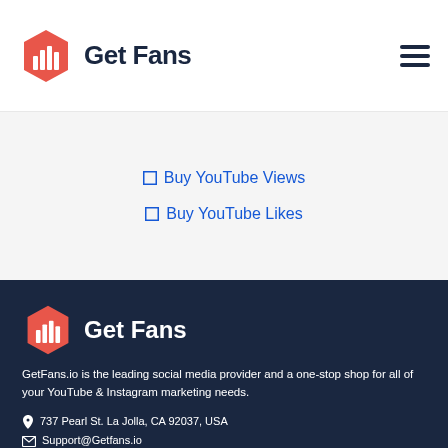[Figure (logo): Get Fans logo with red hexagon icon and dark navy text]
[Figure (other): Hamburger menu icon (three horizontal lines)]
Buy YouTube Views
Buy YouTube Likes
[Figure (logo): Get Fans footer logo with red hexagon icon and white text]
GetFans.io is the leading social media provider and a one-stop shop for all of your YouTube & Instagram marketing needs.
737 Pearl St. La Jolla, CA 92037, USA
Support@Getfans.io